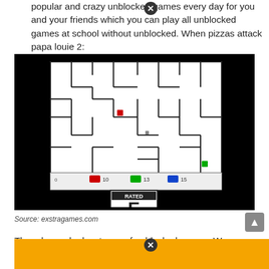popular and crazy unblocked games every day for you and your friends which you can play all unblocked games at school without unblocked. When pizzas attack papa louie 2:
[Figure (screenshot): Screenshot of a maze/tank game on a dark background. The game screen shows a white maze with colored tank icons (red, green, blue) at the bottom. Score numbers visible: 10, 13, 15. An ESRB 'Rated E' (Everyone) rating box is shown at the bottom of the game screen.]
Source: exstragames.com
The roles and advantages of unblocked games. We recommend installing the supernova swf chrome extension.
[Figure (screenshot): Partial screenshot of another game or webpage shown at the very bottom of the page, cropped off.]